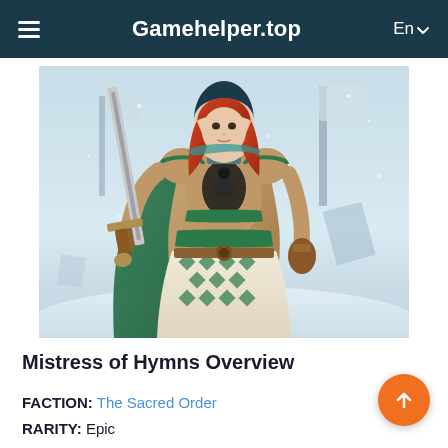Gamehelper.top  En
[Figure (illustration): A female warrior character wearing ornate armor with green and bronze colors, holding a large sword, with red hair, set against a snowy/icy background. Character from a fantasy game (Raid: Shadow Legends) - Mistress of Hymns.]
Mistress of Hymns Overview
FACTION: The Sacred Order
RARITY: Epic
ROLE: Support
AFFINITY: Spirit